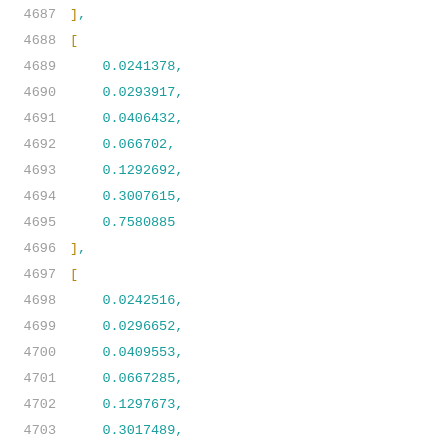4687    ],
4688    [
4689        0.0241378,
4690        0.0293917,
4691        0.0406432,
4692        0.066702,
4693        0.1292692,
4694        0.3007615,
4695        0.7580885
4696    ],
4697    [
4698        0.0242516,
4699        0.0296652,
4700        0.0409553,
4701        0.0667285,
4702        0.1297673,
4703        0.3017489,
4704        0.7584541
4705    ],
4706    [
4707        0.0287536,
4708        0.0338481